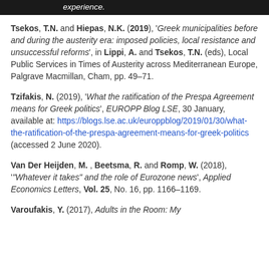experience.
Tsekos, T.N. and Hiepas, N.K. (2019), 'Greek municipalities before and during the austerity era: imposed policies, local resistance and unsuccessful reforms', in Lippi, A. and Tsekos, T.N. (eds), Local Public Services in Times of Austerity across Mediterranean Europe, Palgrave Macmillan, Cham, pp. 49–71.
Tzifakis, N. (2019), 'What the ratification of the Prespa Agreement means for Greek politics', EUROPP Blog LSE, 30 January, available at: https://blogs.lse.ac.uk/europpblog/2019/01/30/what-the-ratification-of-the-prespa-agreement-means-for-greek-politics (accessed 2 June 2020).
Van Der Heijden, M. , Beetsma, R. and Romp, W. (2018), '"Whatever it takes" and the role of Eurozone news', Applied Economics Letters, Vol. 25, No. 16, pp. 1166–1169.
Varoufakis, Y. (2017), Adults in the Room: My Battle with Europe's Deep Establishment, The...